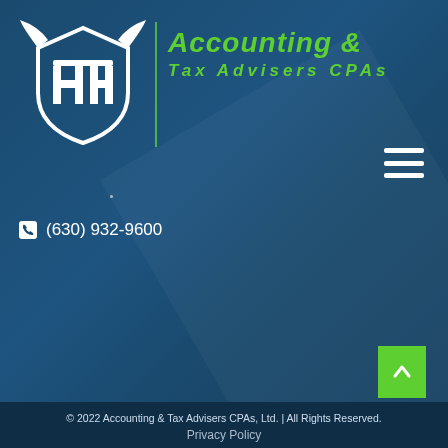[Figure (logo): Accounting & Tax Advisers CPAs company logo with shield/helmet icon in white and green text on dark blue background]
Accounting & Tax Advisers CPAs
(630) 932-9600
© 2022 Accounting & Tax Advisers CPAs, Ltd. | All Rights Reserved.
Privacy Policy